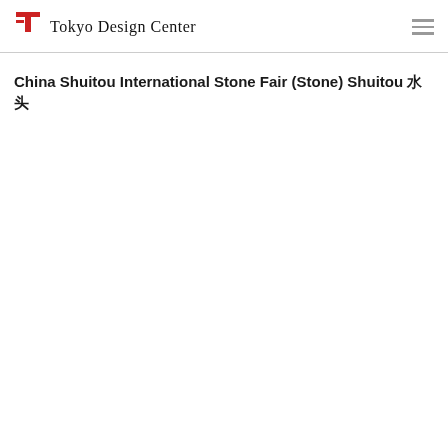Tokyo Design Center
China Shuitou International Stone Fair (Stone) Shuitou 水头